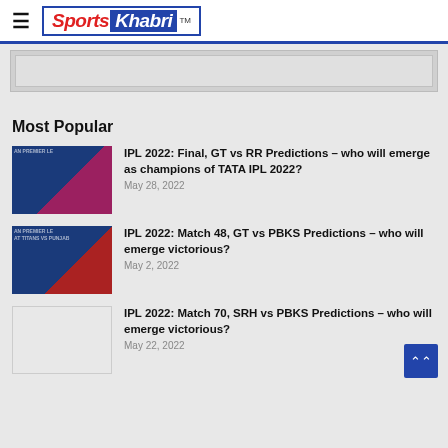Sports Khabri
[Figure (other): Advertisement placeholder banner]
Most Popular
[Figure (photo): IPL 2022 Final GT vs RR team photo]
IPL 2022: Final, GT vs RR Predictions – who will emerge as champions of TATA IPL 2022?
May 28, 2022
[Figure (photo): IPL 2022 Match 48 GT vs PBKS team photo]
IPL 2022: Match 48, GT vs PBKS Predictions – who will emerge victorious?
May 2, 2022
[Figure (photo): IPL 2022 Match 70 SRH vs PBKS placeholder image]
IPL 2022: Match 70, SRH vs PBKS Predictions – who will emerge victorious?
May 22, 2022